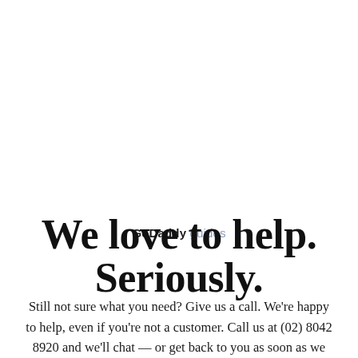GoDaddy guides
We love to help. Seriously.
Still not sure what you need? Give us a call. We're happy to help, even if you're not a customer. Call us at (02) 8042 8920 and we'll chat — or get back to you as soon as we